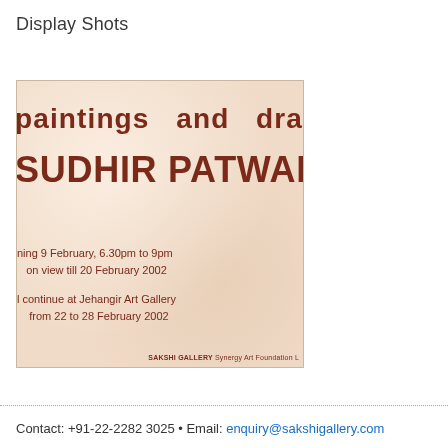Display Shots
[Figure (photo): Art exhibition invitation card on cream/peach background for 'paintings and drawings by SUDHIR PATWARDHAN' at Sakshi Gallery. Shows opening date 9 February 6.30pm to 9pm, on view till 20 February 2002, continuing at Jehangir Art Gallery from 22 to 28 February 2002. Footer reads SAKSHI GALLERY Synergy Art Foundation.]
Contact: +91-22-2282 3025 • Email: enquiry@sakshigallery.com